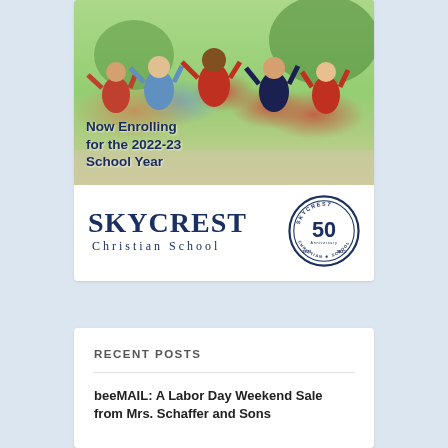[Figure (photo): Children jumping with arms raised outdoors, with overlay text 'Now Enrolling for the 2022-23 School Year']
[Figure (logo): Skycrest Christian School logo with 50th anniversary badge (1971-2021)]
RECENT POSTS
beeMAIL: A Labor Day Weekend Sale from Mrs. Schaffer and Sons